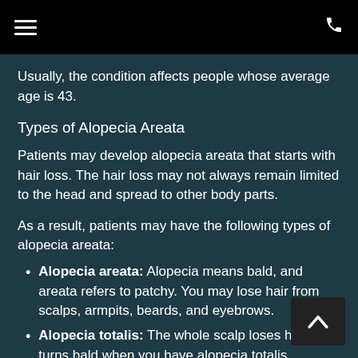☰   ✆
Usually, the condition affects people whose average age is 43.
Types of Alopecia Areata
Patients may develop alopecia areata that starts with hair loss. The hair loss may not always remain limited to the head and spread to other body parts.
As a result, patients may have the following types of alopecia areata:
Alopecia areata: Alopecia means bald, and areata refers to patchy. You may lose hair from scalps, armpits, beards, and eyebrows.
Alopecia totalis: The whole scalp loses hair and turns bald when you have alopecia totalis.